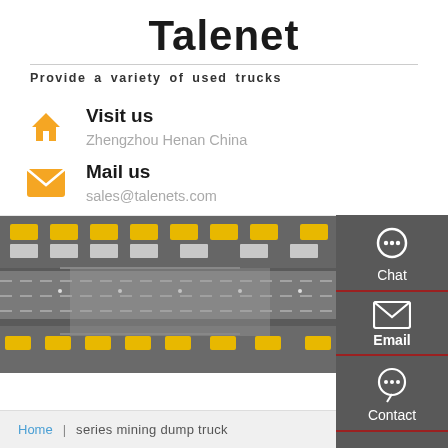Talenet
Provide a variety of used trucks
Visit us
Zhengzhou Henan China
Mail us
sales@talenets.com
[Figure (photo): Aerial view of a truck yard with yellow and white trucks parked in rows on dark asphalt]
Chat
Email
Contact
Top
Home | series mining dump truck